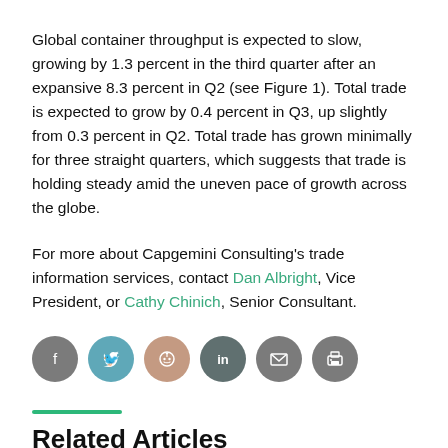Global container throughput is expected to slow, growing by 1.3 percent in the third quarter after an expansive 8.3 percent in Q2 (see Figure 1). Total trade is expected to grow by 0.4 percent in Q3, up slightly from 0.3 percent in Q2. Total trade has grown minimally for three straight quarters, which suggests that trade is holding steady amid the uneven pace of growth across the globe.
For more about Capgemini Consulting's trade information services, contact Dan Albright, Vice President, or Cathy Chinich, Senior Consultant.
[Figure (infographic): Row of six social sharing icon circles: Facebook (grey), Twitter (teal), Reddit (tan/pink), LinkedIn (dark teal), Email (grey), Print (grey)]
Related Articles
Global trade and container flow index: Still fixing leaks in the